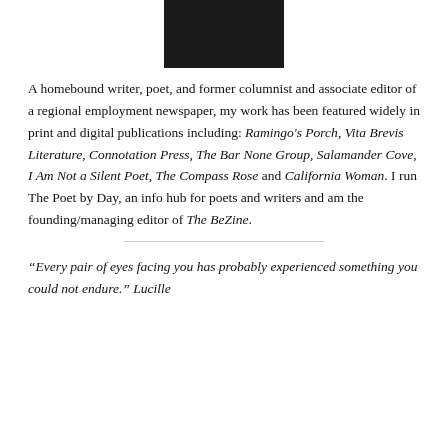[Figure (photo): Black and white portrait photo of a person, partially visible at top of page]
A homebound writer, poet, and former columnist and associate editor of a regional employment newspaper, my work has been featured widely in print and digital publications including: Ramingo's Porch, Vita Brevis Literature, Connotation Press, The Bar None Group, Salamander Cove, I Am Not a Silent Poet, The Compass Rose and California Woman. I run The Poet by Day, an info hub for poets and writers and am the founding/managing editor of The BeZine.
“Every pair of eyes facing you has probably experienced something you could not endure.” Lucille